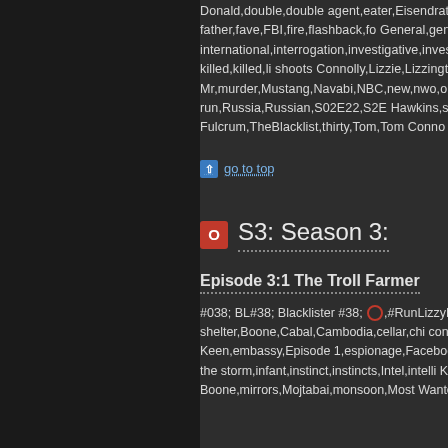Donald,double,double agent,eater,Eisendrath,Elizabeth,Elton,Elton John,escape,espionage,F/D,F/Ders,faked,Liz's father,fave,FBI,fire,flashback,fo General,genetically,genetics,genomics,government,Harold,Hawkins,his international,interrogation,investigative,investigative journalism,Iran,la Katarina Rostova,Katerina,Keen,KGB,kidnapping,Connolly killed,killed,li shoots Connolly,Lizzie,Lizzington,LizzingtonFB,Lizzy,love,Masha,Megan, Mr,murder,Mustang,Navabi,NBC,new,nwo,order,out,penalty,protect,Ra Rocket Man,Rostova,rotovirus,Run Lizzie run,Russia,Russian,S02E22,S2E Hawkins,sex,shadow,shippers,sin eater,sleeper,slideshow,Spader,spy,sta The Cabal,The Blacklist,The Fulcrum,TheBlacklist,thirty,Tom,Tom Conno Two,USA,USSR,Velovirus,wanted,War,Wars,weapon,WID,will,world,W
↑ go to top
S3: Season 3:
Episode 3:1 The Troll Farmer
#038; BL#38; Blacklister #38; ○,#RunLizzyRun,0301,3.01,301,3:1,3X1,@NE monitor,benefit,Blacklist,bomb shelter,Boone,Cabal,Cambodia,cellar,chi contract,Cooper,Counter Intel,daughter,David,Dembe Zuma,Dembe' dau drama,Edi,editors,Elizabeth Keen,embassy,Episode 1,espionage,Facebook fear,foreign,FSB,fugitive,fury,Gathegi,General,granddaughter,grandfa HRT,illusion,immunity,in the storm,infant,instinct,instincts,Intel,intelli KGB,kidnap,Klattenhoff,Kotsiopulos,Lear,Lennix,Liz,Lizzie,Lizzy,loyalty, meaning,media,Megan Boone,mirrors,Mojtabai,monsoon,Most Wanted